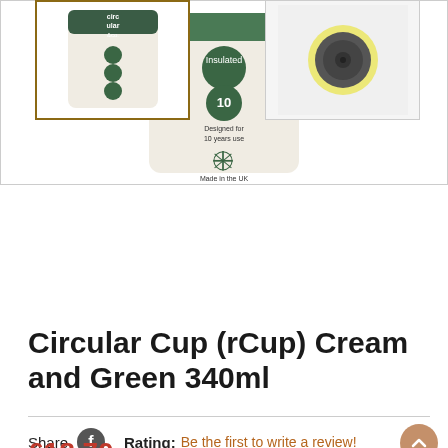[Figure (photo): Main product photo: Circular Cup (rCup) cream colored cup with green branding, showing icons for insulated, designed for 10 years use, made in the UK]
[Figure (photo): Thumbnail 1: Front view of Circular Cup with circ ular &co. branding]
[Figure (photo): Thumbnail 2: Bottom view of the cup, dark grey circular base with yellow ring]
Circular Cup (rCup) Cream and Green 340ml
Share  Rating: Be the first to write a review!